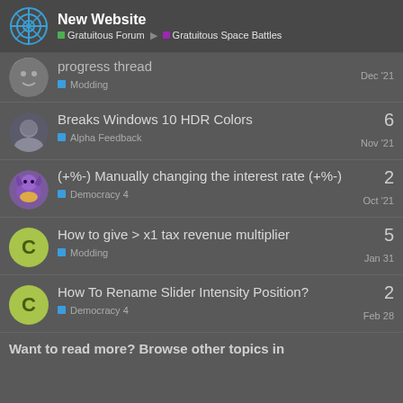New Website | Gratuitous Forum | Gratuitous Space Battles
progress thread | Modding | Dec '21
Breaks Windows 10 HDR Colors | Alpha Feedback | Nov '21 | 6
(+%-) Manually changing the interest rate (+%-) | Democracy 4 | Oct '21 | 2
How to give > x1 tax revenue multiplier | Modding | Jan 31 | 5
How To Rename Slider Intensity Position? | Democracy 4 | Feb 28 | 2
Want to read more? Browse other topics in